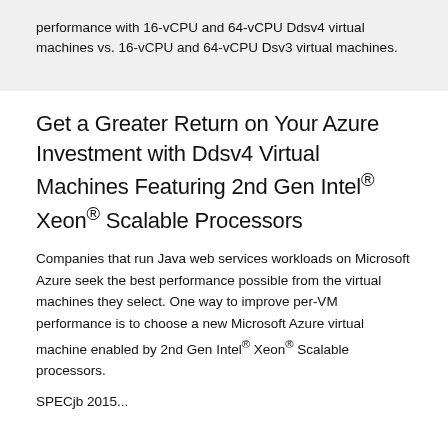performance with 16-vCPU and 64-vCPU Ddsv4 virtual machines vs. 16-vCPU and 64-vCPU Dsv3 virtual machines.
Get a Greater Return on Your Azure Investment with Ddsv4 Virtual Machines Featuring 2nd Gen Intel® Xeon® Scalable Processors
Companies that run Java web services workloads on Microsoft Azure seek the best performance possible from the virtual machines they select. One way to improve per-VM performance is to choose a new Microsoft Azure virtual machine enabled by 2nd Gen Intel® Xeon® Scalable processors.
SPECjb 2015...